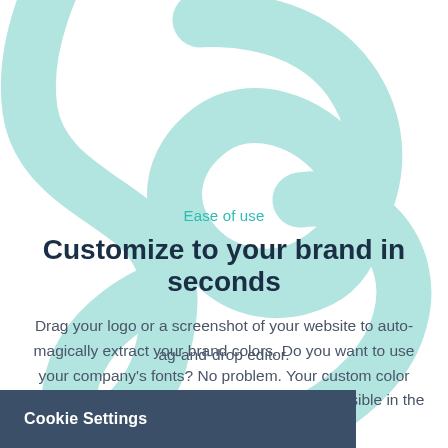[Figure (illustration): Large light teal decorative ampersand or ribbon/loop shape in the background]
Ease of use
Customize to your brand in seconds
Drag your logo or a screenshot of your website to auto-magically extract your brand colors. Do you want to use your company's fonts? No problem. Your custom color palette and uploaded fonts will always be accessible in the drag-and-drop editor.
Cookie Settings